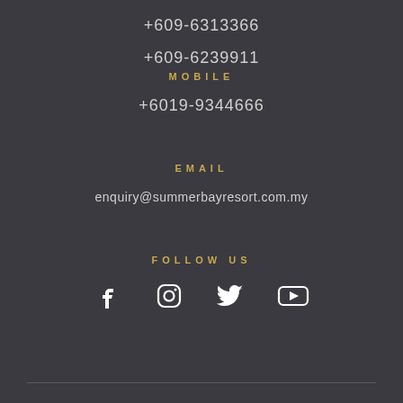+609-6313366
+609-6239911
MOBILE
+6019-9344666
EMAIL
enquiry@summerbayresort.com.my
FOLLOW US
[Figure (illustration): Four social media icons: Facebook, Instagram, Twitter, YouTube]